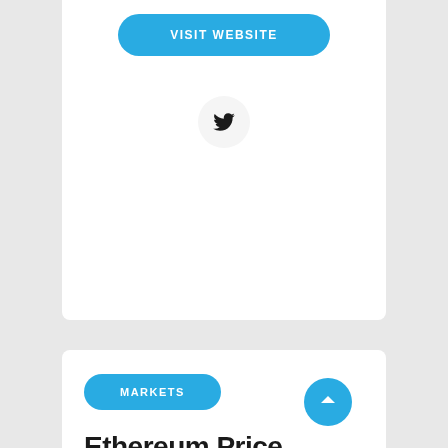[Figure (other): VISIT WEBSITE button - teal rounded pill button]
[Figure (other): Twitter bird icon in a circle]
[Figure (other): MARKETS category badge - teal rounded pill]
Ethereum Price Prediction Today – Cryptocurrency prices today: Bitcoin, Etheru